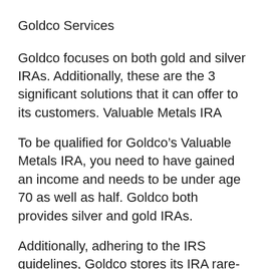Goldco Services
Goldco focuses on both gold and silver IRAs. Additionally, these are the 3 significant solutions that it can offer to its customers. Valuable Metals IRA
To be qualified for Goldco’s Valuable Metals IRA, you need to have gained an income and needs to be under age 70 as well as half. Goldco both provides silver and gold IRAs.
Additionally, adhering to the IRS guidelines, Goldco stores its IRA rare-earth elements with a third party, modern vault.
For its individual retirement account